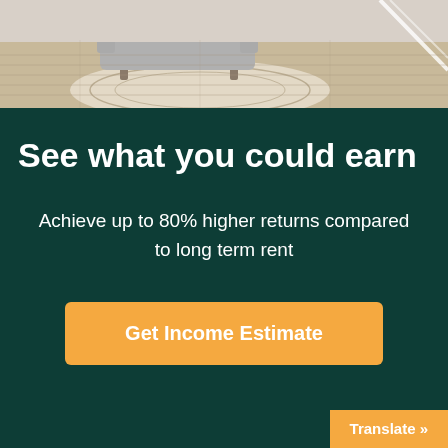[Figure (photo): Interior room scene showing a grey sofa with a patterned rug and hardwood flooring, partially visible from above]
See what you could earn
Achieve up to 80% higher returns compared to long term rent
Get Income Estimate
Translate »